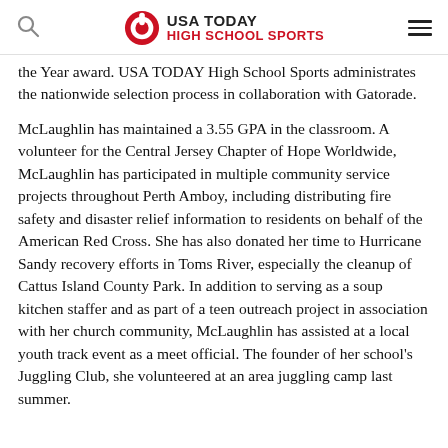USA TODAY HIGH SCHOOL SPORTS
the Year award. USA TODAY High School Sports administrates the nationwide selection process in collaboration with Gatorade.
McLaughlin has maintained a 3.55 GPA in the classroom. A volunteer for the Central Jersey Chapter of Hope Worldwide, McLaughlin has participated in multiple community service projects throughout Perth Amboy, including distributing fire safety and disaster relief information to residents on behalf of the American Red Cross. She has also donated her time to Hurricane Sandy recovery efforts in Toms River, especially the cleanup of Cattus Island County Park. In addition to serving as a soup kitchen staffer and as part of a teen outreach project in association with her church community, McLaughlin has assisted at a local youth track event as a meet official. The founder of her school's Juggling Club, she volunteered at an area juggling camp last summer.